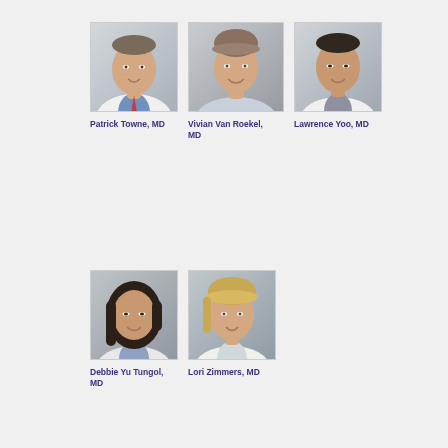[Figure (photo): Professional headshot of Patrick Towne, MD, a male physician in white coat with blue shirt and red tie]
[Figure (photo): Professional headshot of Vivian Van Roekel, MD, a female physician in light blue top]
[Figure (photo): Professional headshot of Lawrence Yoo, MD, an Asian male physician in white coat]
Patrick Towne, MD
Vivian Van Roekel, MD
Lawrence Yoo, MD
[Figure (photo): Professional headshot of Debbie Yu Tungol, MD, an Asian female physician in white coat]
[Figure (photo): Professional headshot of Lori Zimmers, MD, a female physician with blonde hair in white coat]
Debbie Yu Tungol, MD
Lori Zimmers, MD